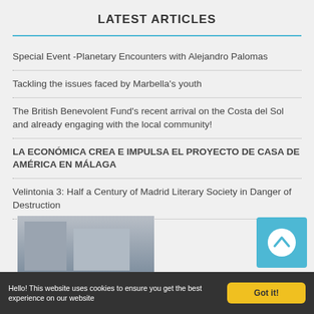LATEST ARTICLES
Special Event -Planetary Encounters with Alejandro Palomas
Tackling the issues faced by Marbella's youth
The British Benevolent Fund's recent arrival on the Costa del Sol and already engaging with the local community!
LA ECONÓMICA CREA E IMPULSA EL PROYECTO DE CASA DE AMÉRICA EN MÁLAGA
Velintonia 3: Half a Century of Madrid Literary Society in Danger of Destruction
[Figure (photo): Partial view of a building facade, appears to be a historic or classical style building with columns and trees visible]
Hello! This website uses cookies to ensure you get the best experience on our website
Got it!